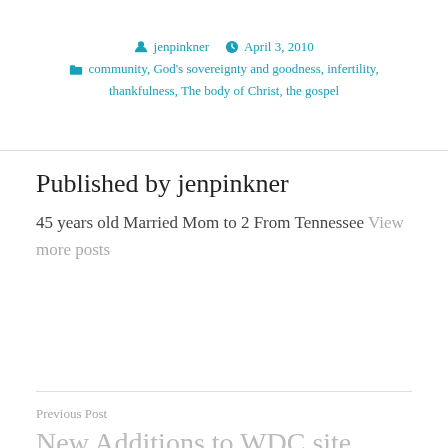jenpinkner   April 3, 2010
community, God's sovereignty and goodness, infertility, thankfulness, The body of Christ, the gospel
Published by jenpinkner
45 years old Married Mom to 2 From Tennessee View more posts
Previous Post
New Additions to WDC site